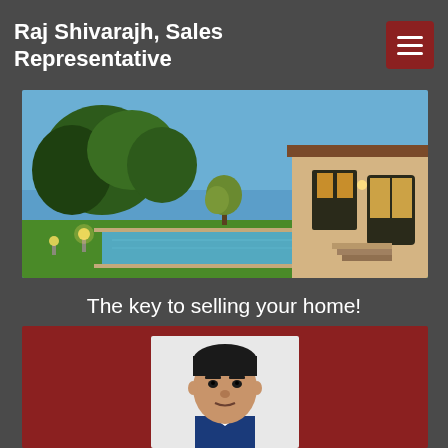Raj Shivarajh, Sales Representative
[Figure (photo): Luxury house exterior with pool and lush landscaping at dusk]
The key to selling your home!
[Figure (photo): Portrait photo of Raj Shivarajh, a man in a suit]